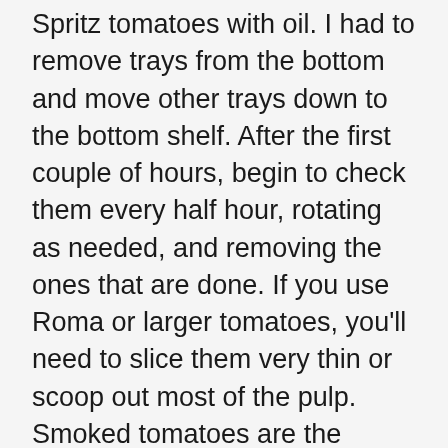Spritz tomatoes with oil. I had to remove trays from the bottom and move other trays down to the bottom shelf. After the first couple of hours, begin to check them every half hour, rotating as needed, and removing the ones that are done. If you use Roma or larger tomatoes, you'll need to slice them very thin or scoop out most of the pulp. Smoked tomatoes are the perfect side dish for a neighborhood BBQ or for grilled burgers. This Smoked Sun-Dried Tomatoes Recipe was born. They can easily turn bitter if over-smoked. Oven sun-dried tomatoes. Once the grill reaches 250 degrees F, place the pans with the tomatoes on the cooler side of the grill. I've never tried to make one but now I know how! I love sun-dried tomatoes. It contains 12 weekly meal plans and everything you need to know to go gluten-free! These are no exception, but our family thinks they are better than the traditional version because of the rich they smokey flavor. More amazing slow and